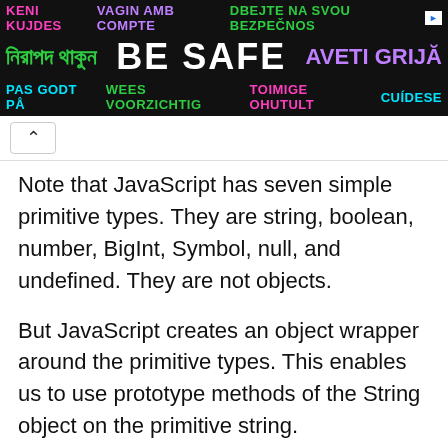[Figure (other): Multilingual 'BE SAFE' advertisement banner with colorful text in multiple languages on a dark background]
Note that JavaScript has seven simple primitive types. They are string, boolean, number, BigInt, Symbol, null, and undefined. They are not objects.
But JavaScript creates an object wrapper around the primitive types. This enables us to use prototype methods of the String object on the primitive string.
2  let primString="hi"
3  let objString=new String("Hi")